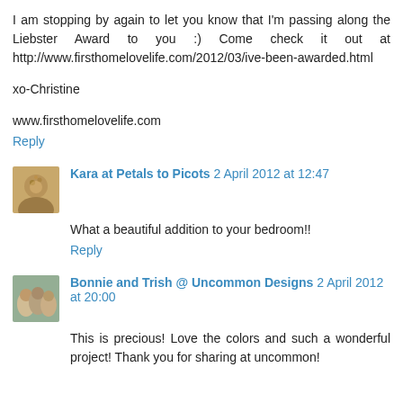I am stopping by again to let you know that I'm passing along the Liebster Award to you :) Come check it out at http://www.firsthomelovelife.com/2012/03/ive-been-awarded.html
xo-Christine
www.firsthomelovelife.com
Reply
[Figure (photo): Avatar photo of Kara at Petals to Picots]
Kara at Petals to Picots 2 April 2012 at 12:47
What a beautiful addition to your bedroom!!
Reply
[Figure (photo): Avatar photo of Bonnie and Trish @ Uncommon Designs]
Bonnie and Trish @ Uncommon Designs 2 April 2012 at 20:00
This is precious! Love the colors and such a wonderful project! Thank you for sharing at uncommon!